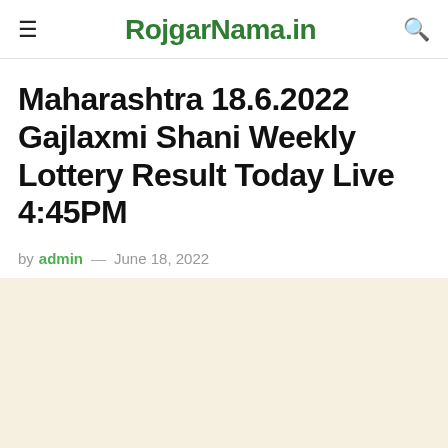RojgarNama.in
Maharashtra 18.6.2022 Gajlaxmi Shani Weekly Lottery Result Today Live 4:45PM
by admin — June 18, 2022